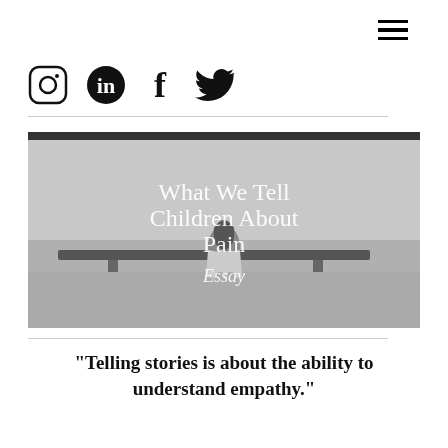≡ (hamburger menu)
[Figure (logo): Social media icons: Instagram, LinkedIn, Facebook, Twitter]
[Figure (photo): Black and white photo of a young girl sitting on a bench facing away, with overlay text: What We Tell Children About Pain, Essay]
"Telling stories is about the ability to understand empathy."